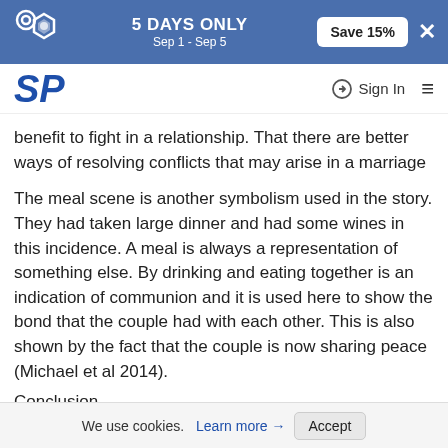5 DAYS ONLY Sep 1 - Sep 5 | Save 15% | ×
SP | Sign In | ☰
benefit to fight in a relationship. That there are better ways of resolving conflicts that may arise in a marriage
The meal scene is another symbolism used in the story. They had taken large dinner and had some wines in this incidence. A meal is always a representation of something else. By drinking and eating together is an indication of communion and it is used here to show the bond that the couple had with each other. This is also shown by the fact that the couple is now sharing peace (Michael et al 2014).
Conclusion
The story is a symbolism of the challenges that are faced in any relationship as well as how we should solve these issues. The paring knife under a fridge is a symbolism of
We use cookies. Learn more → Accept